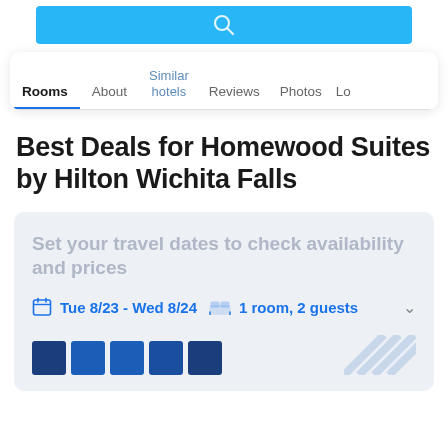[Figure (screenshot): Blue search bar with magnifying glass icon at top]
Rooms  About  Similar hotels  Reviews  Photos  Lo
Best Deals for Homewood Suites by Hilton Wichita Falls
Set your travel dates to check availability and prices
Tue 8/23 - Wed 8/24  1 room, 2 guests